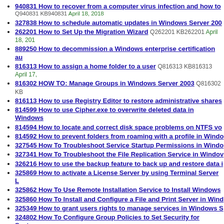940831 How to recover from a computer virus infection and how to Q940831 KB940831 April 18, 2018
327838 How to schedule automatic updates in Windows Server 200
262201 How to Set Up the Migration Wizard Q262201 KB262201 April 18, 201
889250 How to decommission a Windows enterprise certification au
816313 How to assign a home folder to a user Q816313 KB816313 April 17,
816302 HOW TO: Manage Groups in Windows Server 2003 Q816302 KB
816113 How to use Registry Editor to restore administrative shares
814599 How to use Cipher.exe to overwrite deleted data in Windows
814594 How to locate and correct disk space problems on NTFS vo
814592 How to prevent folders from roaming with a profile in Windo
327545 How To Troubleshoot Service Startup Permissions in Windo
327341 How To Troubleshoot the File Replication Service in Windov
326216 How to use the backup feature to back up and restore data i
325869 How to activate a License Server by using Terminal Server L
325862 How To Use Remote Installation Service to Install Windows
325860 How To Install and Configure a File and Print Server in Wind
325349 How to grant users rights to manage services in Windows S
324802 How To Configure Group Policies to Set Security for System
324796 HOW TO: Configure a Low Disk Space Alert by Using the Pe 2018